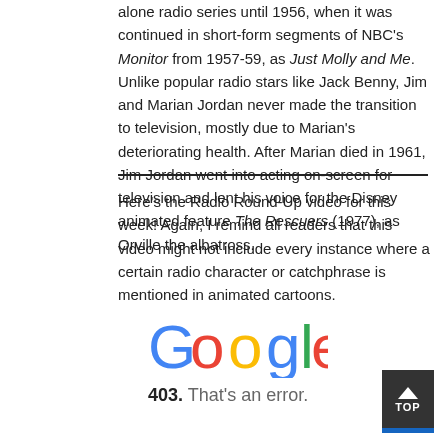alone radio series until 1956, when it was continued in short-form segments of NBC's Monitor from 1957-59, as Just Molly and Me. Unlike popular radio stars like Jack Benny, Jim and Marian Jordan never made the transition to television, mostly due to Marian's deteriorating health. After Marian died in 1961, Jim Jordan went into acting on-screen for television and lent his voice for the Disney animated feature The Rescuers (1977), as Orville the albatross.
Here's the Radio Round-Up video for this week! Again, I remind all readers that this video might not include every instance where a certain radio character or catchphrase is mentioned in animated cartoons.
[Figure (logo): Google logo in standard multicolor]
403. That's an error.